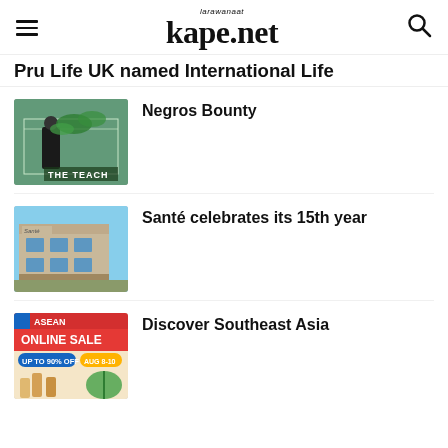larawana at kape.net
Pru Life UK named International Life
Negros Bounty
Santé celebrates its 15th year
Discover Southeast Asia